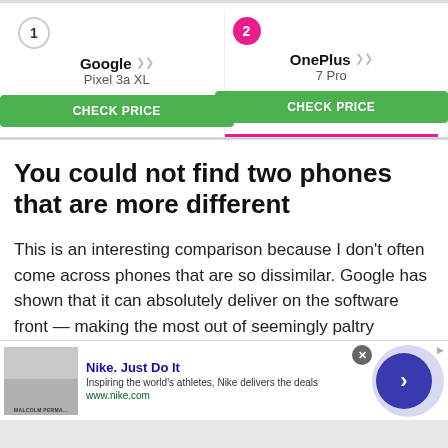[Figure (other): Phone comparison widget showing two ranked phones: 1) Google Pixel 3a XL with CHECK PRICE button, 2) OnePlus 7 Pro with CHECK PRICE button and active pink underline tab indicator]
You could not find two phones that are more different
This is an interesting comparison because I don't often come across phones that are so dissimilar. Google has shown that it can absolutely deliver on the software front — making the most out of seemingly paltry hardware — while OnePlus is all
[Figure (other): Advertisement banner for Nike. Just Do It — showing a product thumbnail image, ad title 'Nike. Just Do It', description 'Inspiring the world's athletes, Nike delivers the deals', URL 'www.nike.com', a close button (x), and a blue circular arrow navigation button]